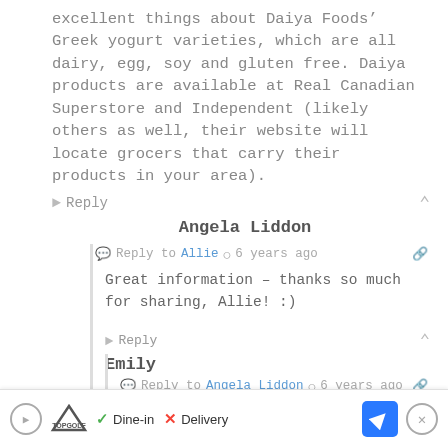excellent things about Daiya Foods’ Greek yogurt varieties, which are all dairy, egg, soy and gluten free. Daiya products are available at Real Canadian Superstore and Independent (likely others as well, their website will locate grocers that carry their products in your area).
Reply
Angela Liddon
Reply to Allie  6 years ago
Great information – thanks so much for sharing, Allie! :)
Reply
Emily
Reply to Angela Liddon  6 years ago
The Kite Hill almond-based yogurt is really fantastic! I find the texture of the coconut
[Figure (infographic): Advertisement bar at the bottom: Topgolf logo, Dine-in with checkmark, Delivery with X, blue navigation arrow button, and close (X) button]